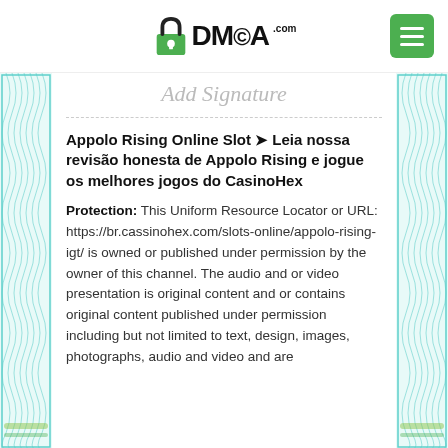DMCA.com
Add Signature
Appolo Rising Online Slot ➤ Leia nossa revisão honesta de Appolo Rising e jogue os melhores jogos do CasinoHex
Protection: This Uniform Resource Locator or URL: https://br.cassinohex.com/slots-online/appolo-rising-igt/ is owned or published under permission by the owner of this channel. The audio and or video presentation is original content and or contains original content published under permission including but not limited to text, design, images, photographs, audio and video and are